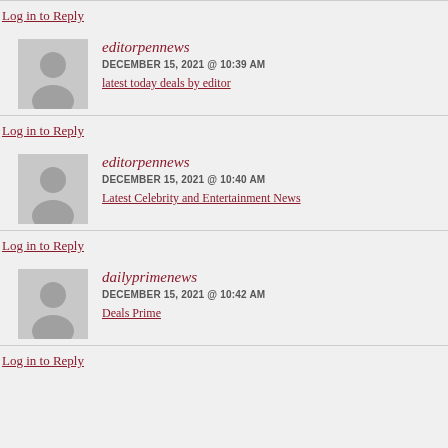Log in to Reply
editorpennews
DECEMBER 15, 2021 @ 10:39 AM
latest today deals by editor
Log in to Reply
editorpennews
DECEMBER 15, 2021 @ 10:40 AM
Latest Celebrity and Entertainment News
Log in to Reply
dailyprimenews
DECEMBER 15, 2021 @ 10:42 AM
Deals Prime
Log in to Reply